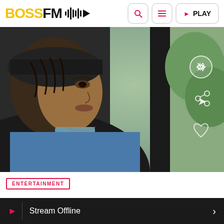BOSS FM
[Figure (photo): Young person sitting in a car, wearing a blue shirt and dark cap, viewed from a slight angle. Social sharing icons (link, share, heart) are overlaid on the right side of the image.]
ENTERTAINMENT
Stream Offline